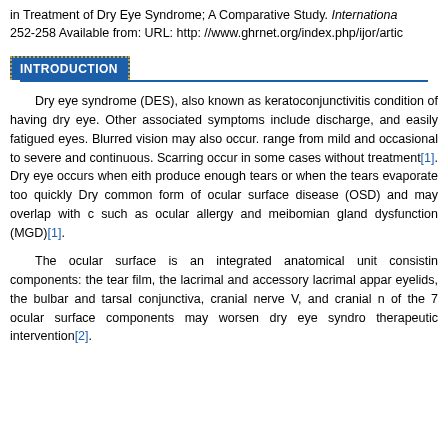in Treatment of Dry Eye Syndrome; A Comparative Study. Internationa 252-258 Available from: URL: http: //www.ghrnet.org/index.php/ijor/artic
INTRODUCTION
Dry eye syndrome (DES), also known as keratoconjunctivitis condition of having dry eye. Other associated symptoms include discharge, and easily fatigued eyes. Blurred vision may also occur. range from mild and occasional to severe and continuous. Scarring occur in some cases without treatment[1]. Dry eye occurs when eith produce enough tears or when the tears evaporate too quickly Dry common form of ocular surface disease (OSD) and may overlap with c such as ocular allergy and meibomian gland dysfunction (MGD)[1].
The ocular surface is an integrated anatomical unit consistin components: the tear film, the lacrimal and accessory lacrimal appar eyelids, the bulbar and tarsal conjunctiva, cranial nerve V, and cranial n of the 7 ocular surface components may worsen dry eye syndro therapeutic intervention[2].